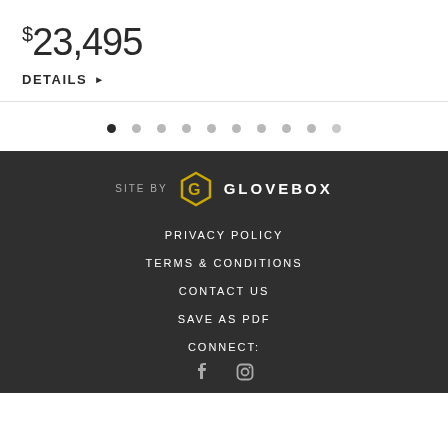$23,495
DETAILS ▶
[Figure (other): Pagination dots row with 10 dots, first dot active (dark), rest light gray]
SITE BY GLOVEBOX
PRIVACY POLICY
TERMS & CONDITIONS
CONTACT US
SAVE AS PDF
CONNECT:
[Figure (other): Social media icons (Facebook and another icon)]